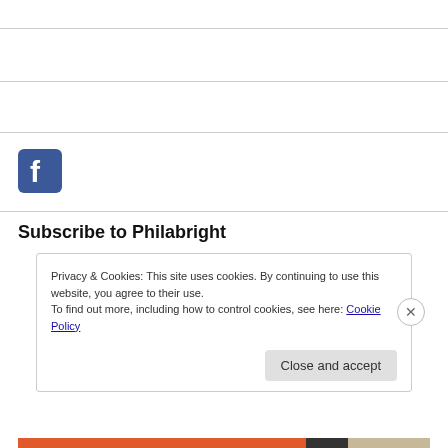[Figure (logo): Facebook logo icon — blue rounded square with white lowercase f]
Subscribe to Philabright
Privacy & Cookies: This site uses cookies. By continuing to use this website, you agree to their use. To find out more, including how to control cookies, see here: Cookie Policy
Close and accept